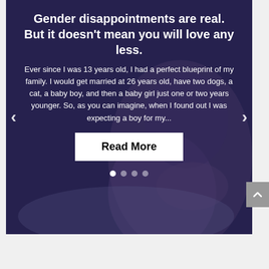[Figure (screenshot): Slideshow carousel with dark blue-purple overlay over a photo of a pregnant woman. Contains navigation arrows, headline text, body text, a Read More button, and carousel dot indicators.]
Gender disappointments are real. But it doesn't mean you will love any less.
Ever since I was 13 years old, I had a perfect blueprint of my family. I would get married at 26 years old, have two dogs, a cat, a baby boy, and then a baby girl just one or two years younger. So, as you can imagine, when I found out I was expecting a boy for my...
Read More